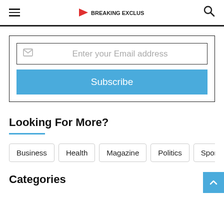Hamburger menu | Logo | Search icon
Enter your Email address
Subscribe
Looking For More?
Business
Health
Magazine
Politics
Sports
World
Categories